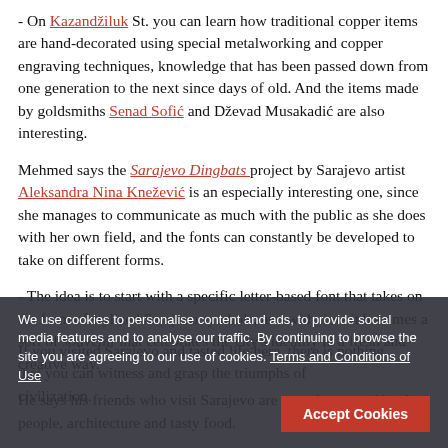- On Kazandžiluk St. you can learn how traditional copper items are hand-decorated using special metalworking and copper engraving techniques, knowledge that has been passed down from one generation to the next since days of old. And the items made by goldsmiths Senad Sofić and Dževad Musakadić are also interesting.
Mehmed says the Sarajevo Dingbats project by Sarajevo artist Aleksandra Nina Knežević is an especially interesting one, since she manages to communicate as much with the public as she does with her own field, and the fonts can constantly be developed to take on different forms.
- The idea is to start with a specific letter-based font that takes on the form of stylized Sarajevo symbols, and with time it becomes a sort of souvenir that celebrates the city's identity in a fresh and creative way.
He says his friends who visit Sarajevo are most impressed by the people, architecture and tasty food.
If you visited Sarajevo and tasted life here, there is nothing that you can witness and grasp the triumphs of civilization.
We use cookies to personalise content and ads, to provide social media features and to analyse our traffic. By continuing to browse the site you are agreeing to our use of cookies. Terms and Conditions of Use